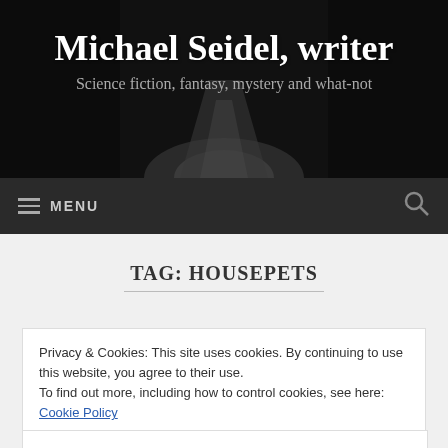[Figure (screenshot): Hero banner with dark road/forest background image]
Michael Seidel, writer
Science fiction, fantasy, mystery and what-not
MENU
TAG: HOUSEPETS
Privacy & Cookies: This site uses cookies. By continuing to use this website, you agree to their use.
To find out more, including how to control cookies, see here: Cookie Policy
Close and accept